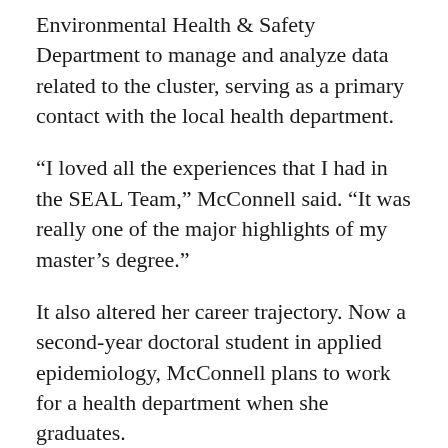Environmental Health & Safety Department to manage and analyze data related to the cluster, serving as a primary contact with the local health department.
“I loved all the experiences that I had in the SEAL Team,” McConnell said. “It was really one of the major highlights of my master’s degree.”
It also altered her career trajectory. Now a second-year doctoral student in applied epidemiology, McConnell plans to work for a health department when she graduates.
McConnell will join the growing cadre of SEALs whose skills make them sought-after hires. Out of 51 SEAL Team alumni, at least a dozen have gone to work for public health practice agencies in